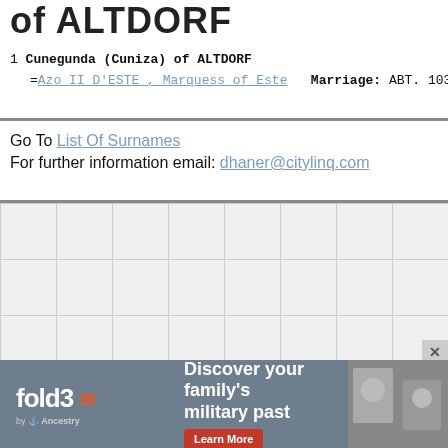of ALTDORF
1 Cunegunda (Cuniza) of ALTDORF =Azo II D'ESTE , Marquess of Este   Marriage: ABT. 1035
Go To List Of Surnames
For further information email: dhaner@citylinq.com
[Figure (other): Advertisement banner for fold3 by Ancestry: 'Discover your family's military past' with Learn More button and photo of military personnel]